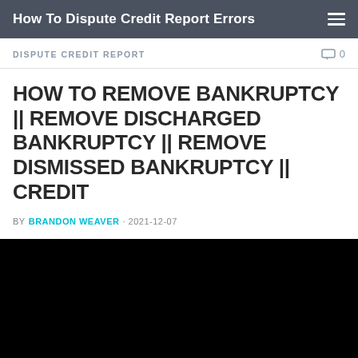How To Dispute Credit Report Errors
DISPUTE CREDIT REPORT
HOW TO REMOVE BANKRUPTCY || REMOVE DISCHARGED BANKRUPTCY || REMOVE DISMISSED BANKRUPTCY || CREDIT
BY BRANDON WEAVER · 2021-12-07
[Figure (other): Black video embed placeholder]